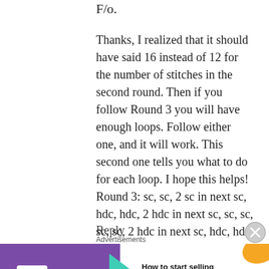F/o.
Thanks, I realized that it should have said 16 instead of 12 for the number of stitches in the second round. Then if you follow Round 3 you will have enough loops. Follow either one, and it will work. This second one tells you what to do for each loop. I hope this helps! Round 3: sc, sc, 2 sc in next sc, hdc, hdc, 2 hdc in next sc, sc, sc, sc, sc, 2 hdc in next sc, hdc, hdc, 2 sc in next sc, sc, sc.
Reply
[Figure (other): WooCommerce advertisement banner: 'How to start selling subscriptions online']